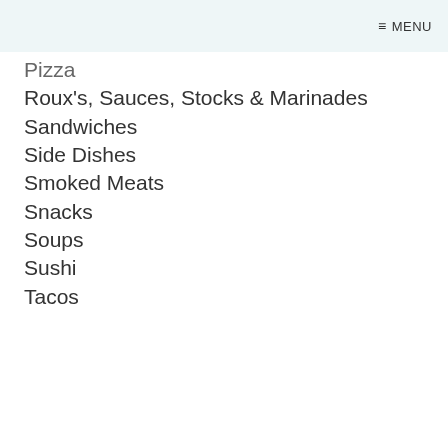≡ MENU
Pizza
Roux's, Sauces, Stocks & Marinades
Sandwiches
Side Dishes
Smoked Meats
Snacks
Soups
Sushi
Tacos